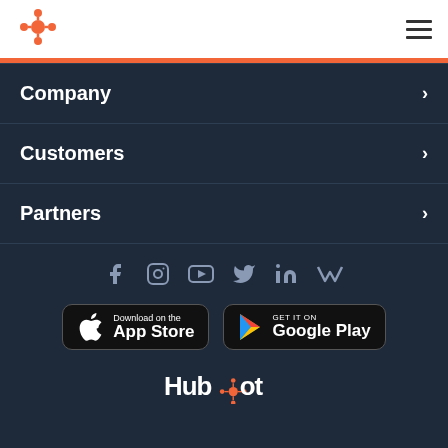HubSpot navigation header with logo and hamburger menu
Company
Customers
Partners
[Figure (infographic): Social media icons row: Facebook, Instagram, YouTube, Twitter, LinkedIn, Medium]
[Figure (infographic): App store download buttons: Download on the App Store and GET IT ON Google Play]
[Figure (logo): HubSpot logo in white text]